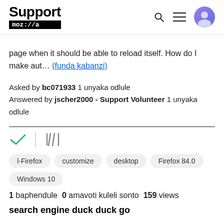Support moz://a
page when it should be able to reload itself. How do I make aut... (funda kabanzi)
Asked by bc071933 1 unyaka odlule
Answered by jscher2000 - Support Volunteer 1 unyaka odlule
[Figure (other): Check mark icon and stack/library icon]
l-Firefox  customize  desktop  Firefox 84.0  Windows 10
1 baphendule  0 amavoti kuleli sonto  159 views
search engine duck duck go